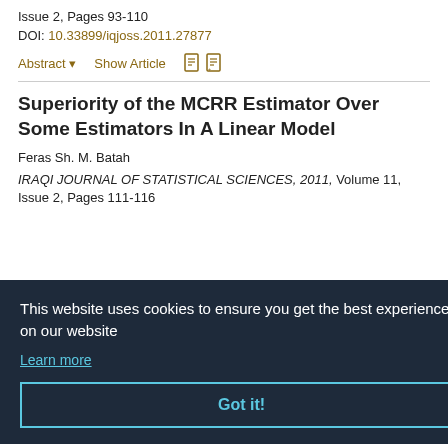Issue 2, Pages 93-110
DOI: 10.33899/iqjoss.2011.27877
Abstract ▾    Show Article
Superiority of the MCRR Estimator Over Some Estimators In A Linear Model
Feras Sh. M. Batah
IRAQI JOURNAL OF STATISTICAL SCIENCES, 2011, Volume 11, Issue 2, Pages 111-116
This website uses cookies to ensure you get the best experience on our website
Learn more
Got it!
IRAQI JOURNAL OF STATISTICAL SCIENCES, 2011, Volume 11,